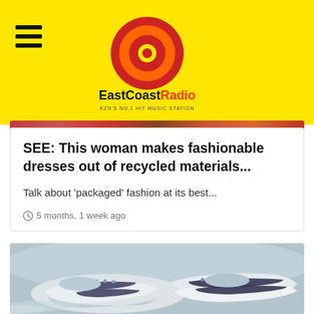EastCoastRadio — KZN'S NO.1 HIT MUSIC STATION
SEE: This woman makes fashionable dresses out of recycled materials...
Talk about 'packaged' fashion at its best...
5 months, 1 week ago
[Figure (photo): Close-up photo of white sneakers/sandals with velcro straps and studded details on a light surface]